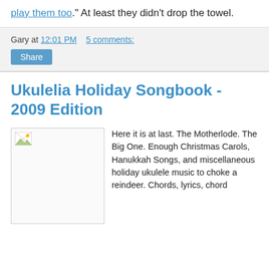play them too." At least they didn't drop the towel.
Gary at 12:01 PM   5 comments:
Share
Ukulelia Holiday Songbook - 2009 Edition
[Figure (photo): Broken image placeholder for the Ukulelia Holiday Songbook 2009 Edition cover]
Here it is at last. The Motherlode. The Big One. Enough Christmas Carols, Hanukkah Songs, and miscellaneous holiday ukulele music to choke a reindeer. Chords, lyrics, chord